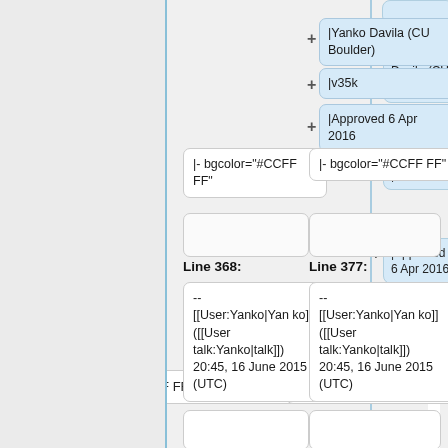|Yanko Davila (CU Boulder)
|v35k
|Approved 6 Apr 2016
|- bgcolor="#CCFFFF"
|- bgcolor="#CCFFFF"
Line 368:
Line 377:
--
[[User:Yanko|Yanko]] ([[User talk:Yanko|talk]])
20:45, 16 June 2015 (UTC)
--
[[User:Yanko|Yanko]] ([[User talk:Yanko|talk]])
20:45, 16 June 2015 (UTC)